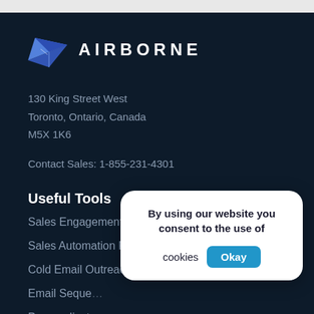[Figure (logo): Airborne logo with blue paper airplane icon and text AIRBORNE in white letters]
130 King Street West
Toronto, Ontario, Canada
M5X 1K6
Contact Sales: 1-855-231-4301
Useful Tools
Sales Engagement Platform
Sales Automation Platform
Cold Email Outreach
Email Seque…
Personalizat…
Product
By using our website you consent to the use of cookies
Okay